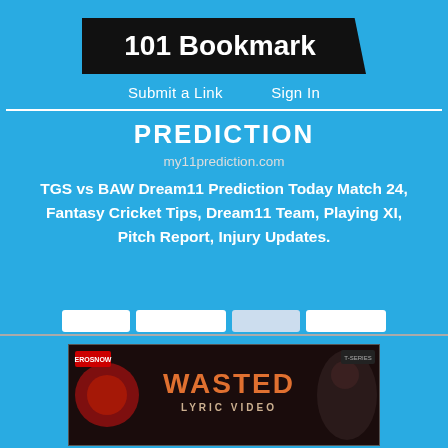101 Bookmark
Submit a Link   Sign In
PREDICTION
my11prediction.com
TGS vs BAW Dream11 Prediction Today Match 24, Fantasy Cricket Tips, Dream11 Team, Playing XI, Pitch Report, Injury Updates.
[Figure (screenshot): WASTED LYRIC VIDEO thumbnail image with dark background and stylized text]